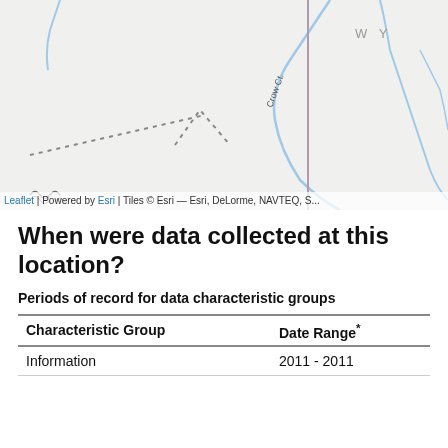[Figure (map): Partial map view showing geographic area with roads, waterways (Crow Ct.), dotted trail or boundary lines, and a state label 'W Y'. Map has light gray background with blue river lines and a purple/mauve vertical road line.]
Leaflet | Powered by Esri | Tiles © Esri — Esri, DeLorme, NAVTEQ, S...
When were data collected at this location?
Periods of record for data characteristic groups
| Characteristic Group | Date Range* |
| --- | --- |
| Information | 2011 - 2011 |